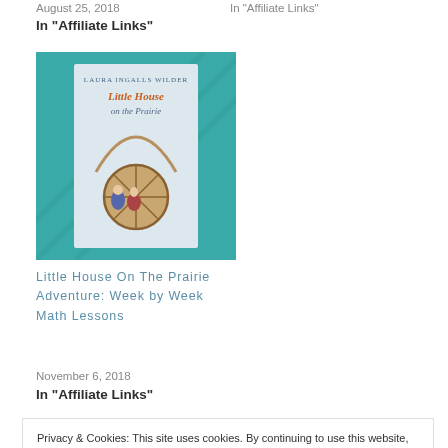August 25, 2018
In "Affiliate Links"
In "Affiliate Links"
[Figure (illustration): Book cover of 'Little House on the Prairie' by Laura Ingalls Wilder against a teal background]
Little House On The Prairie Adventure: Week by Week Math Lessons
November 6, 2018
In "Affiliate Links"
Privacy & Cookies: This site uses cookies. By continuing to use this website, you agree to their use.
To find out more, including how to control cookies, see here: Our Cookie Policy
Close and accept